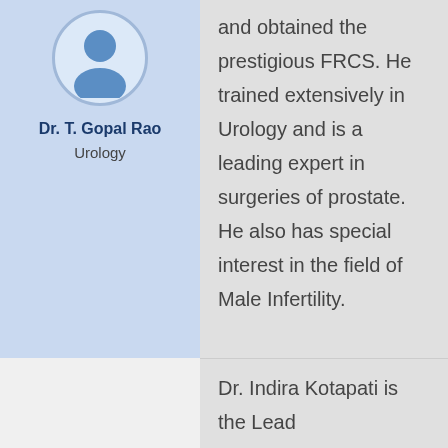[Figure (illustration): Circular avatar icon with a generic person silhouette in blue tones]
Dr. T. Gopal Rao
Urology
and obtained the prestigious FRCS. He trained extensively in Urology and is a leading expert in surgeries of prostate. He also has special interest in the field of Male Infertility.
Dr. Indira Kotapati is the Lead